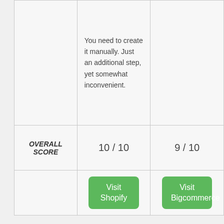|  | Shopify | Bigcommerce |
| --- | --- | --- |
|  | You need to create it manually. Just an additional step, yet somewhat inconvenient. |  |
| OVERALL SCORE | 10 / 10 | 9 / 10 |
|  | Visit Shopify | Visit Bigcommerce |